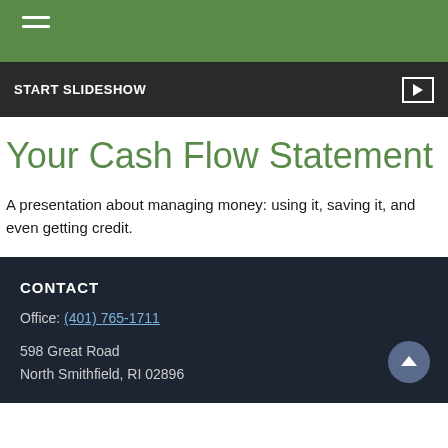START SLIDESHOW
Your Cash Flow Statement
A presentation about managing money: using it, saving it, and even getting credit.
CONTACT
Office: (401) 765-1711
598 Great Road
North Smithfield, RI 02896